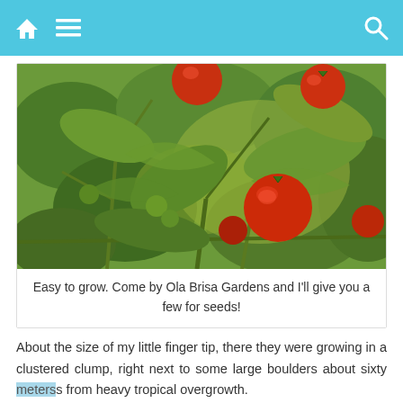Navigation bar with home, menu, and search icons
[Figure (photo): Close-up photo of cherry tomato plant with ripe red tomatoes and green leaves]
Easy to grow. Come by Ola Brisa Gardens and I'll give you a few for seeds!
About the size of my little finger tip, there they were growing in a clustered clump, right next to some large boulders about sixty meters from heavy tropical overgrowth.